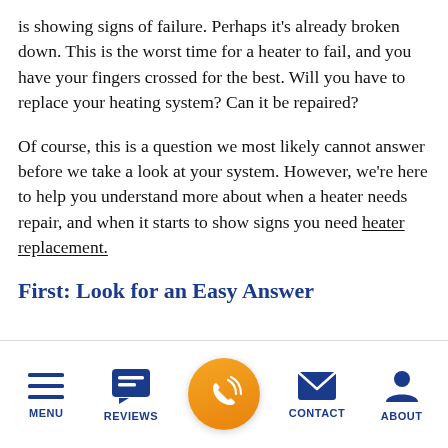is showing signs of failure. Perhaps it's already broken down. This is the worst time for a heater to fail, and you have your fingers crossed for the best. Will you have to replace your heating system? Can it be repaired?
Of course, this is a question we most likely cannot answer before we take a look at your system. However, we're here to help you understand more about when a heater needs repair, and when it starts to show signs you need heater replacement.
First: Look for an Easy Answer